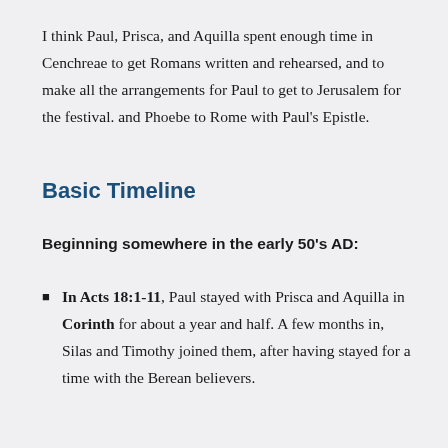I think Paul, Prisca, and Aquilla spent enough time in Cenchreae to get Romans written and rehearsed, and to make all the arrangements for Paul to get to Jerusalem for the festival. and Phoebe to Rome with Paul's Epistle.
Basic Timeline
Beginning somewhere in the early 50's AD:
In Acts 18:1-11, Paul stayed with Prisca and Aquilla in Corinth for about a year and half. A few months in, Silas and Timothy joined them, after having stayed for a time with the Berean believers.